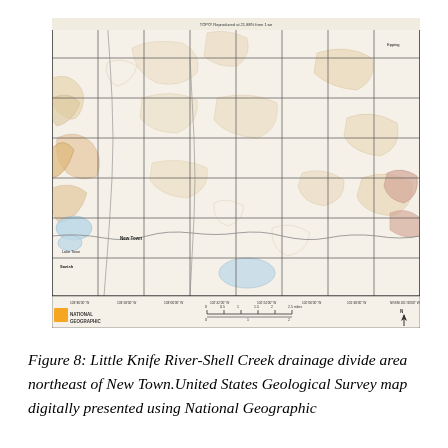[Figure (map): USGS topographic map showing the Little Knife River-Shell Creek drainage divide area northeast of New Town, North Dakota. The map displays topographic contours, drainage features, township/range grid lines, roads, and labeled localities including New Town. National Geographic logo and scale bar appear at the bottom of the map image.]
Figure 8: Little Knife River-Shell Creek drainage divide area northeast of New Town.United States Geological Survey map digitally presented using National Geographic